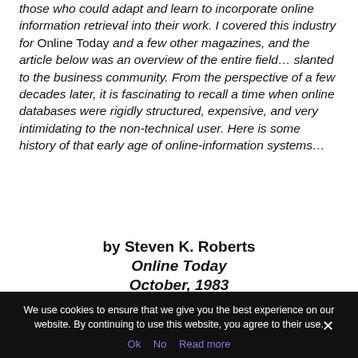those who could adapt and learn to incorporate online information retrieval into their work. I covered this industry for Online Today and a few other magazines, and the article below was an overview of the entire field… slanted to the business community. From the perspective of a few decades later, it is fascinating to recall a time when online databases were rigidly structured, expensive, and very intimidating to the non-technical user. Here is some history of that early age of online-information systems…
by Steven K. Roberts
Online Today
October, 1983
We use cookies to ensure that we give you the best experience on our website. By continuing to use this website, you agree to their use.